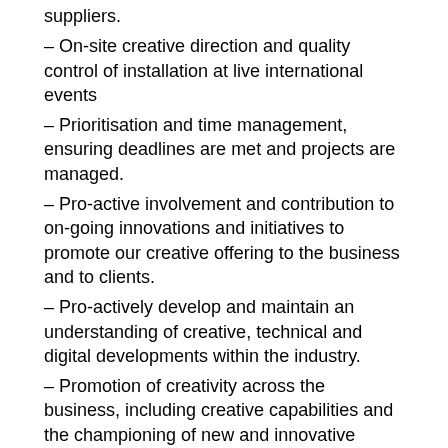suppliers.
– On-site creative direction and quality control of installation at live international events
– Prioritisation and time management, ensuring deadlines are met and projects are managed.
– Pro-active involvement and contribution to on-going innovations and initiatives to promote our creative offering to the business and to clients.
– Pro-actively develop and maintain an understanding of creative, technical and digital developments within the industry.
– Promotion of creativity across the business, including creative capabilities and the championing of new and innovative design trends, technologies.
– Share knowledge and understanding of the industry, contributing to team growth and the development of staff with a broad spectrum of experience.
Skills and Experience
– Highly creative concept development skills with the ability to communicate ideas through your own sketch work
– Highly adept in 3D Modelling and visualisation, ideally using Cinema 4D or StrataCX but training will be provided.
– The ability to produce high quality, leading edge computer